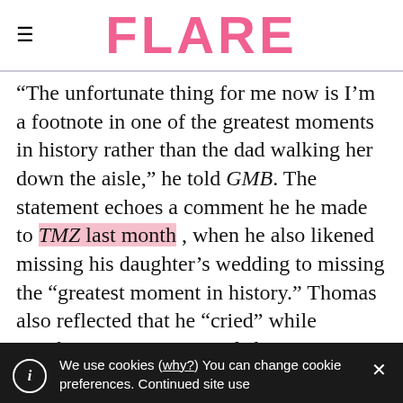FLARE
"The unfortunate thing for me now is I'm a footnote in one of the greatest moments in history rather than the dad walking her down the aisle," he told GMB. The statement echoes a comment he he made to TMZ last month , when he also likened missing his daughter's wedding to missing the "greatest moment in history." Thomas also reflected that he "cried" while watching Prince Harry's father, Prince
We use cookies (why?) You can change cookie preferences. Continued site use